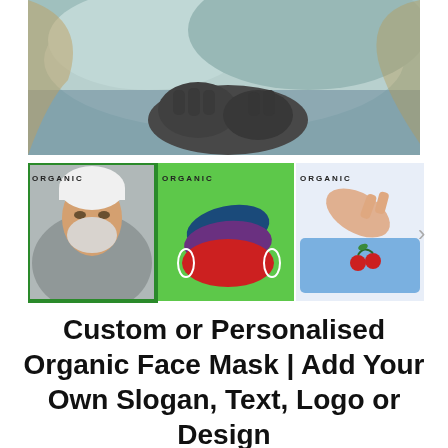[Figure (photo): Close-up photo of a person wearing a light teal/mint colored garment and dark grey leather gloves, holding the fabric near their chest area.]
[Figure (photo): Thumbnail gallery row showing three product images: (1) woman wearing an organic face mask with white beanie hat, selected with green border; (2) stack of colorful face masks (red, purple, blue) on bright green background with ORGANIC text; (3) hand embroidering a cherry design on a light blue face mask with ORGANIC text. A right arrow chevron is visible at the far right.]
Custom or Personalised Organic Face Mask | Add Your Own Slogan, Text, Logo or Design